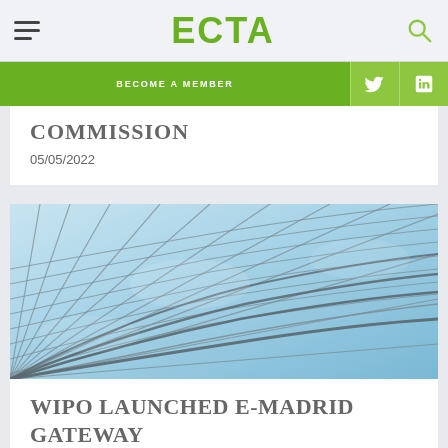ECTA
COMMISSION
05/05/2022
[Figure (photo): Glass roof architectural photograph showing a curved grid of steel and glass panels with blue sky]
WIPO LAUNCHED E-MADRID GATEWAY
05/05/2022